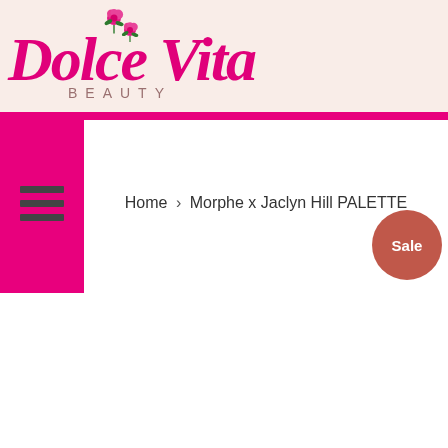[Figure (logo): Dolce Vita Beauty logo with pink script lettering and rose illustration on a light peach/pink damask patterned background]
Home › Morphe x Jaclyn Hill PALETTE
Sale